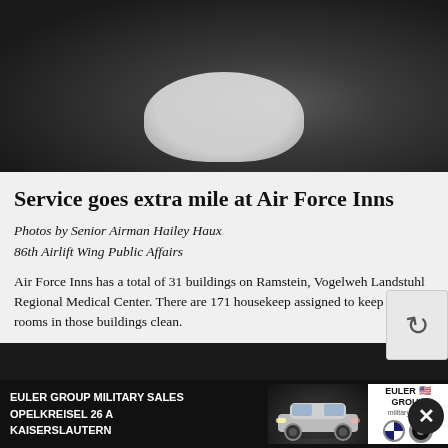[Figure (photo): Dark photo of a person holding white pillow/bedding, partially obscured, dark background]
Service goes extra mile at Air Force Inns
Photos by Senior Airman Hailey Haux
86th Airlift Wing Public Affairs
Air Force Inns has a total of 31 buildings on Ramstein, Vogelweh Landstuhl Regional Medical Center. There are 171 housekeep assigned to keep the rooms in those buildings clean.
[Figure (other): Google reCAPTCHA widget overlay on right side]
[Figure (other): Advertisement overlay: Euler Group Military Sales, Opelkreisel 26 A, Kaiserslautern, with BMW/MINI logos and car image]
We use … de social m … share information about your use of our site with our social media